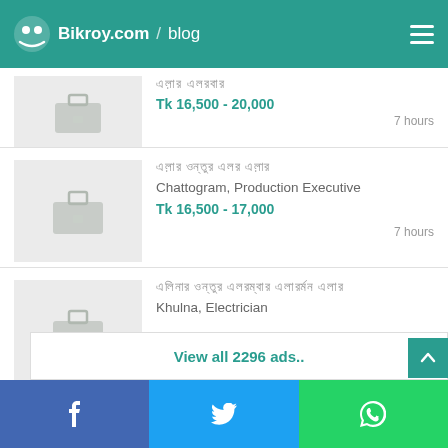Bikroy.com / blog
[Figure (screenshot): Partially visible job listing with briefcase icon, Bangla title, price Tk 16,500 - 20,000, 7 hours]
7 hours
[Figure (screenshot): Job listing with briefcase placeholder image]
Chattogram, Production Executive
Tk 16,500 - 17,000
7 hours
[Figure (screenshot): Job listing with briefcase placeholder image for Khulna Electrician]
Khulna, Electrician
8 hours
View all 2296 ads..